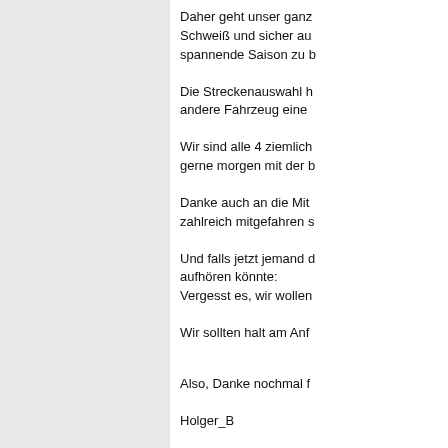Daher geht unser ganz... Schweiß und sicher au... spannende Saison zu b...
Die Streckenauswahl h... andere Fahrzeug eine...
Wir sind alle 4 ziemlich... gerne morgen mit der b...
Danke auch an die Mit... zahlreich mitgefahren s...
Und falls jetzt jemand d... aufhören könnte:
Vergesst es, wir wollen...
Wir sollten halt am Anf...
Also, Danke nochmal f...
Holger_B